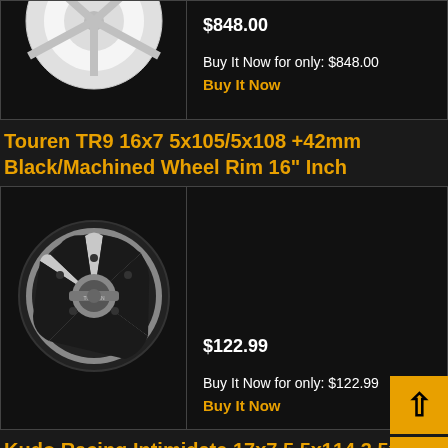[Figure (photo): Partial view of a white wheel rim at top of page]
$848.00
Buy It Now for only: $848.00
Buy It Now
Touren TR9 16x7 5x105/5x108 +42mm Black/Machined Wheel Rim 16" Inch
[Figure (photo): Black and machined Touren TR9 wheel rim with 5-spoke design]
$122.99
Buy It Now for only: $122.99
Buy It Now
Kudo Racing Intimidate 17x7.5 5x114.3 5x... +40mm Full Black Wheels Rims (4)